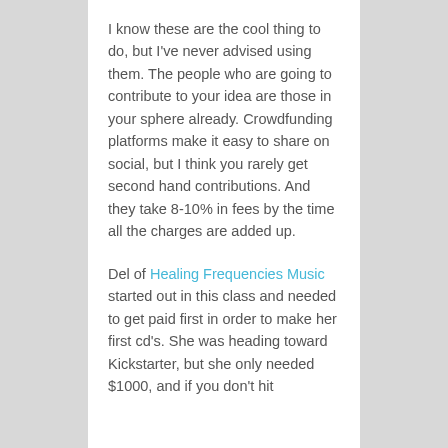I know these are the cool thing to do, but I've never advised using them.  The people who are going to contribute to your idea are those in your sphere already. Crowdfunding platforms make it easy to share on social, but I think you rarely get second hand contributions.  And they take 8-10% in fees by the time all the charges are added up.
Del of Healing Frequencies Music started out in this class and needed to get paid first in order to make her first cd's.  She was heading toward Kickstarter, but she only needed $1000, and if you don't hit the target, you can't keep the donations.